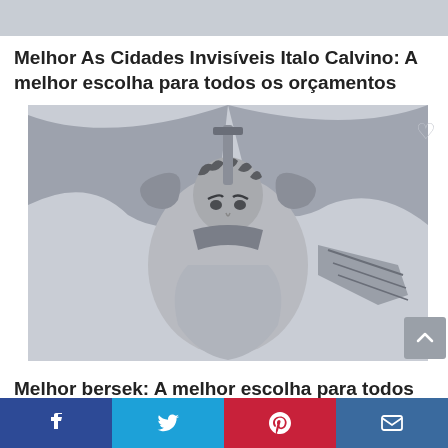[Figure (photo): Gray image strip at top of page, partially visible]
Melhor As Cidades Invisíveis Italo Calvino: A melhor escolha para todos os orçamentos
[Figure (illustration): Manga-style illustration of an armored warrior (Guts from Berserk) wielding a large sword, drawn in black and white with crossbow detail]
Melhor bersek: A melhor escolha para todos os orçamentos
Facebook | Twitter | Pinterest | Email